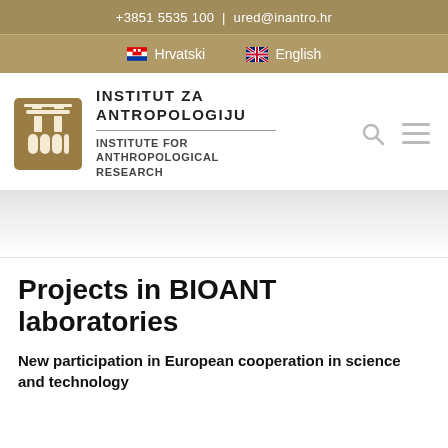+3851 5535 100 | ured@inantro.hr
Hrvatski   English
[Figure (logo): Institut za Antropologiju / Institute for Anthropological Research logo with stylized figure icon in golden/brown square]
Projects in BIOANT laboratories
New participation in European cooperation in science and technology